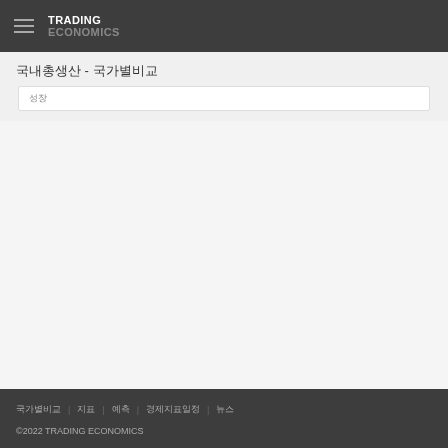TRADING ECONOMICS
국내총생산 - 국가별비교
성장
국가별비교 | 지표 | 예측 | 경제지표일정 | 뉴스 | ©2022 TRADING ECONOMICS